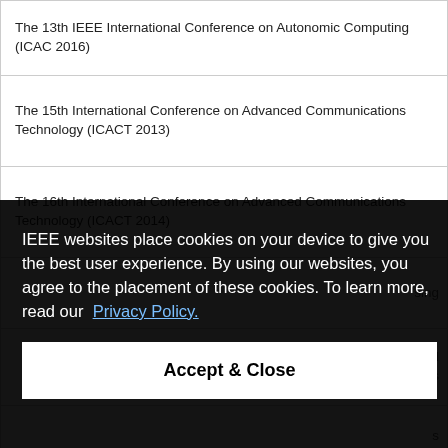The 13th IEEE International Conference on Autonomic Computing (ICAC 2016)
The 15th International Conference on Advanced Communications Technology (ICACT 2013)
The 16th International Conference on Advanced Communications Technology (ICACT 2014)
(partial, obscured by overlay) ...sing
(partial, obscured) ...ed ...orks
(partial, obscured) ...s (NCC 2012)
IEEE websites place cookies on your device to give you the best user experience. By using our websites, you agree to the placement of these cookies. To learn more, read our Privacy Policy.